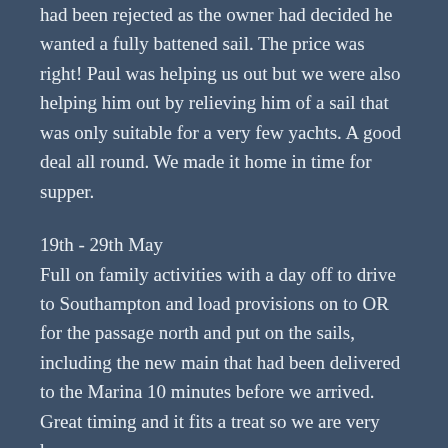had been rejected as the owner had decided he wanted a fully battened sail. The price was right! Paul was helping us out but we were also helping him out by relieving him of a sail that was only suitable for a very few yachts. A good deal all round. We made it home in time for supper.
19th - 29th May
Full on family activities with a day off to drive to Southampton and load provisions on to OR for the passage north and put on the sails, including the new main that had been delivered to the Marina 10 minutes before we arrived. Great timing and it fits a treat so we are very happy.
30th May